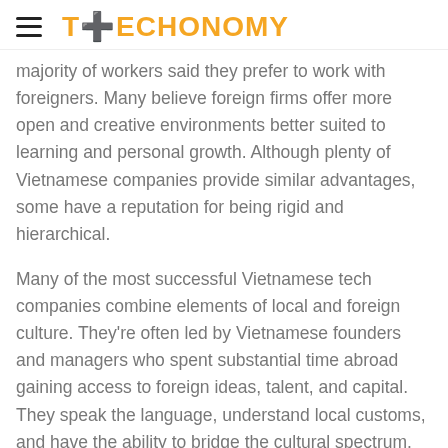TECHONOMY
majority of workers said they prefer to work with foreigners. Many believe foreign firms offer more open and creative environments better suited to learning and personal growth. Although plenty of Vietnamese companies provide similar advantages, some have a reputation for being rigid and hierarchical.
Many of the most successful Vietnamese tech companies combine elements of local and foreign culture. They’re often led by Vietnamese founders and managers who spent substantial time abroad gaining access to foreign ideas, talent, and capital. They speak the language, understand local customs, and have the ability to bridge the cultural spectrum.